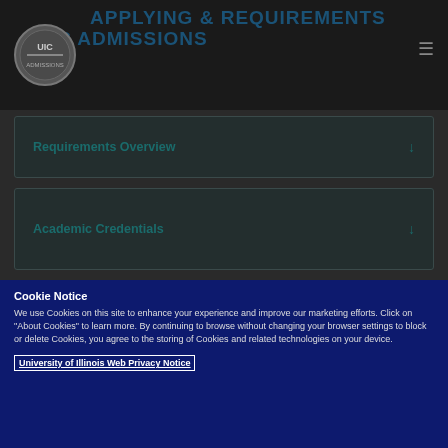APPLYING & REQUIREMENTS UIC ADMISSIONS
Requirements Overview
Academic Credentials
English Proficiency
Cookie Notice
We use Cookies on this site to enhance your experience and improve our marketing efforts. Click on "About Cookies" to learn more. By continuing to browse without changing your browser settings to block or delete Cookies, you agree to the storing of Cookies and related technologies on your device.
University of Illinois Web Privacy Notice